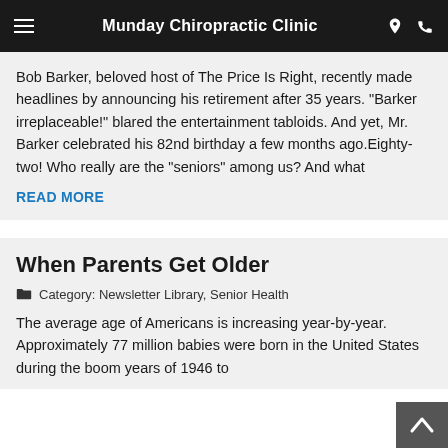Munday Chiropractic Clinic
Bob Barker, beloved host of The Price Is Right, recently made headlines by announcing his retirement after 35 years. "Barker irreplaceable!" blared the entertainment tabloids. And yet, Mr. Barker celebrated his 82nd birthday a few months ago.Eighty-two! Who really are the "seniors" among us? And what
READ MORE
When Parents Get Older
Category: Newsletter Library, Senior Health
The average age of Americans is increasing year-by-year. Approximately 77 million babies were born in the United States during the boom years of 1946 to